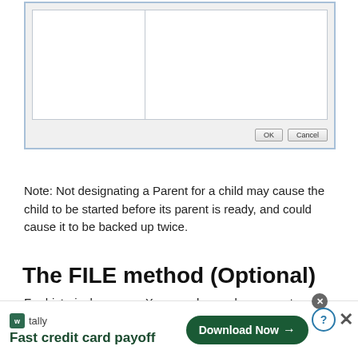[Figure (screenshot): Partial screenshot of a dialog box with two-panel list area and OK/Cancel buttons at bottom right]
Note: Not designating a Parent for a child may cause the child to be started before its parent is ready, and could cause it to be backed up twice.
The FILE method (Optional)
For historical reasons, Xen-pocalypse also supports getting the list of VMs to be backed up as a text file. While the “code” is still in there, the functionality is
[Figure (screenshot): Advertisement banner: Tally app - Fast credit card payoff, with Download Now button]